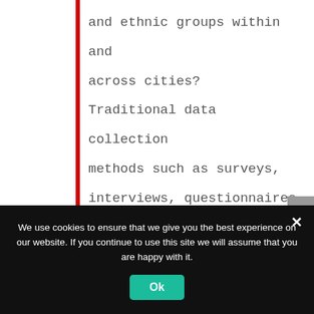and ethnic groups within and across cities? Traditional data collection methods such as surveys, interviews, questionnaires and, more recently, data harvesting and analysis (e.g. on the use of mobile devices) have provided interesting
We use cookies to ensure that we give you the best experience on our website. If you continue to use this site we will assume that you are happy with it.